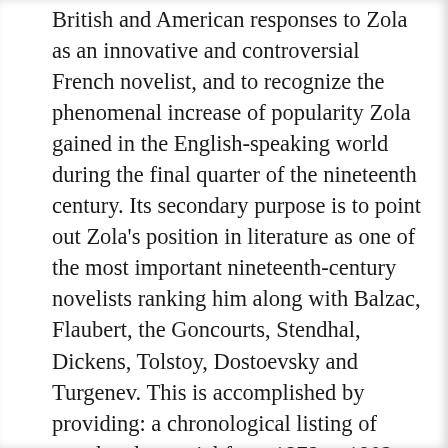British and American responses to Zola as an innovative and controversial French novelist, and to recognize the phenomenal increase of popularity Zola gained in the English-speaking world during the final quarter of the nineteenth century. Its secondary purpose is to point out Zola's position in literature as one of the most important nineteenth-century novelists ranking him along with Balzac, Flaubert, the Goncourts, Stendhal, Dickens, Tolstoy, Dostoevsky and Turgenev. This is accomplished by providing: a chronological listing of translated material from 1878 to 1902 which serves as a source for directing readers to editions of Zola's work; an annotated listing of books about Zola's life and works; a listing of articles from various literary journals representing the criticism of Zola's work; and a chronology of the life and works of Émile Zola.